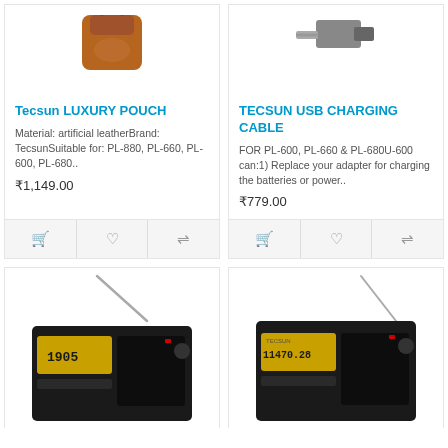[Figure (photo): Tecsun luxury pouch product image - brown leather pouch partially visible at top]
Tecsun LUXURY POUCH
Material: artificial leatherBrand: TecsunSuitable for: PL-880, PL-660, PL-600, PL-680..
₹1,149.00
[Figure (photo): Tecsun USB charging cable product image at top]
TECSUN USB CHARGING CABLE
FOR PL-600, PL-660 & PL-680U-600 can:1) Replace your adapter for charging the batteries or power..
₹779.00
[Figure (photo): Tecsun shortwave radio with antenna and LCD display showing 1905]
[Figure (photo): Tecsun shortwave radio with antenna and LCD display showing 11470.28]